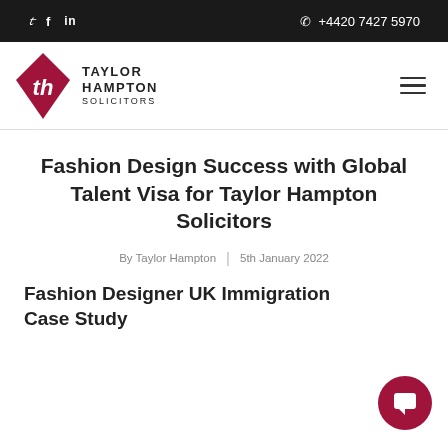Twitter  Facebook  LinkedIn  +4420 7427 5970
[Figure (logo): Taylor Hampton Solicitors logo with red diamond shape and company name]
Fashion Design Success with Global Talent Visa for Taylor Hampton Solicitors
By Taylor Hampton | 5th January 2022
Fashion Designer UK Immigration Case Study